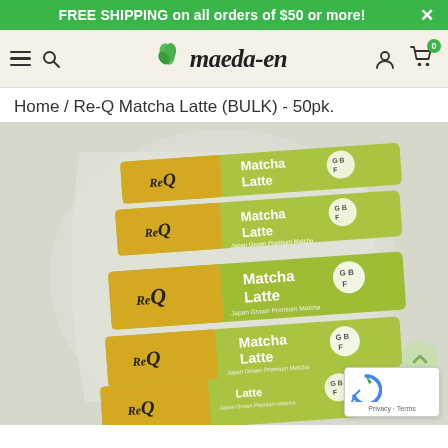FREE SHIPPING on all orders of $50 or more!
[Figure (logo): Maeda-en logo with green leaf icon and italic bold text 'maeda-en']
Home / Re-Q Matcha Latte (BULK) - 50pk.
[Figure (photo): Multiple green and yellow Re-Q Matcha Latte individual stick packets stacked in a clear plastic bulk package. Each packet shows 'Re Q Matcha Latte Japan Grown Premium Matcha' with a GBF logo badge.]